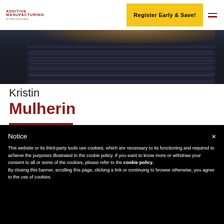ADDITIVE MANUFACTURING STRATEGIES
Register Early & Save!
[Figure (photo): Partial photo of a person (Kristin Mulherin) showing dark clothing with ruffled/textured detail and partial hair at top, cropped view]
Kristin Mulherin
Notice
This website or its third-party tools use cookies, which are necessary to its functioning and required to achieve the purposes illustrated in the cookie policy. If you want to know more or withdraw your consent to all or some of the cookies, please refer to the cookie policy.
By closing this banner, scrolling this page, clicking a link or continuing to browse otherwise, you agree to the use of cookies.